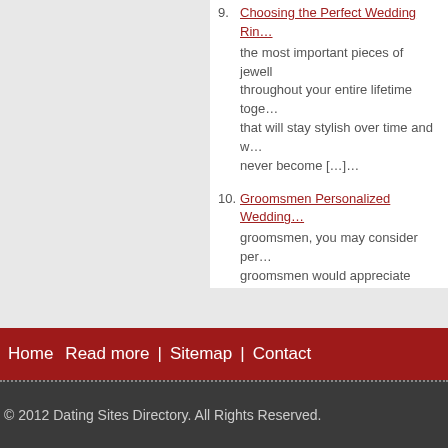9. Choosing the Perfect Wedding Ring... the most important pieces of jewelry throughout your entire lifetime together that will stay stylish over time and will never become [...]...
10. Groomsmen Personalized Wedding... groomsmen, you may consider personalized groomsmen would appreciate receiving makes a personalized gift very special created because you want your gift...
273 total views, 1 so far today
Listed: August 19, 2009 8:03 am
Home  Read more  |  Sitemap  |  Contact
© 2012 Dating Sites Directory. All Rights Reserved.